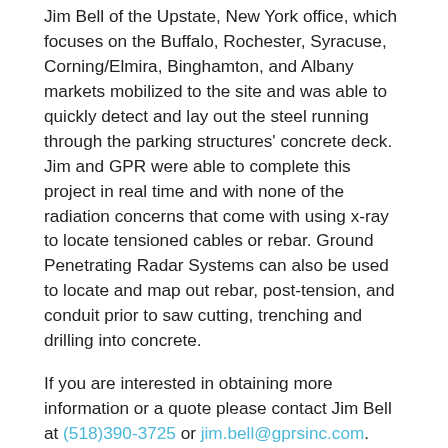Jim Bell of the Upstate, New York office, which focuses on the Buffalo, Rochester, Syracuse, Corning/Elmira, Binghamton, and Albany markets mobilized to the site and was able to quickly detect and lay out the steel running through the parking structures' concrete deck. Jim and GPR were able to complete this project in real time and with none of the radiation concerns that come with using x-ray to locate tensioned cables or rebar. Ground Penetrating Radar Systems can also be used to locate and map out rebar, post-tension, and conduit prior to saw cutting, trenching and drilling into concrete.
If you are interested in obtaining more information or a quote please contact Jim Bell at (518)390-3725 or jim.bell@gprsinc.com.